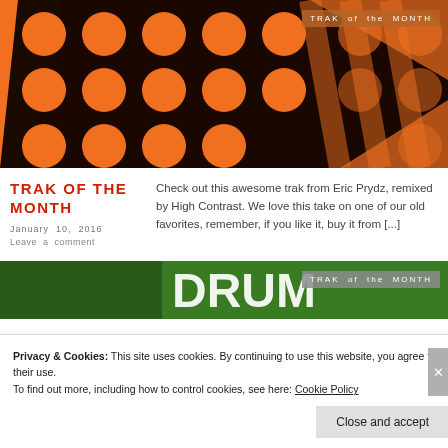[Figure (photo): Dark brown and orange abstract design with orange circles/dots arranged in a grid pattern on a dark background with orange diagonal stripes. Badge reads 'TRAK of the MONTH' top right.]
TRAK OF THE MONTH
January 10, 2016
Leave a comment
Check out this awesome trak from Eric Prydz, remixed by High Contrast. We love this take on one of our old favorites, remember, if you like it, buy it from [...]
[Figure (photo): Partial image showing green foliage/nature themed design with white text, badge reads 'TRAK of the MONTH' top right.]
Privacy & Cookies: This site uses cookies. By continuing to use this website, you agree to their use.
To find out more, including how to control cookies, see here: Cookie Policy
Close and accept